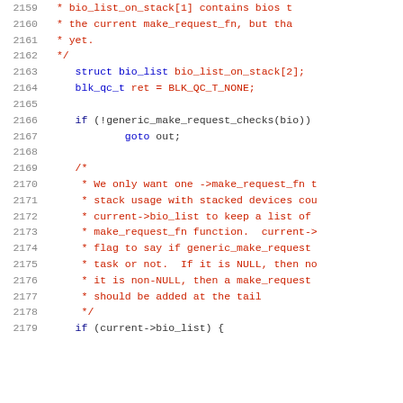Source code listing lines 2159-2179, C kernel code with comments and code statements